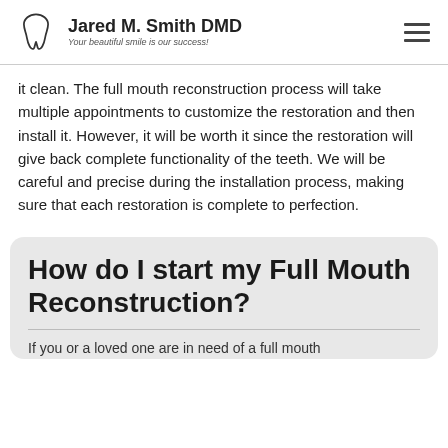Jared M. Smith DMD — Your beautiful smile is our success!
it clean. The full mouth reconstruction process will take multiple appointments to customize the restoration and then install it. However, it will be worth it since the restoration will give back complete functionality of the teeth. We will be careful and precise during the installation process, making sure that each restoration is complete to perfection.
How do I start my Full Mouth Reconstruction?
If you or a loved one are in need of a full mouth